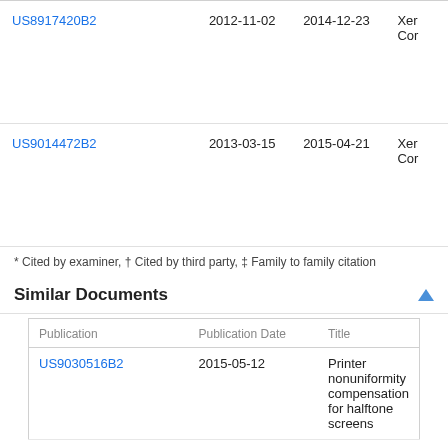| Publication |  | Publication Date | Priority Date | Assignee |
| --- | --- | --- | --- | --- |
| US8917420B2 |  | 2012-11-02 | 2014-12-23 | Xer
Cor |
| US9014472B2 |  | 2013-03-15 | 2015-04-21 | Xer
Cor |
* Cited by examiner, † Cited by third party, ‡ Family to family citation
Similar Documents
| Publication | Publication Date | Title |
| --- | --- | --- |
| US9030516B2 | 2015-05-12 | Printer nonuniformity compensation for halftone screens |